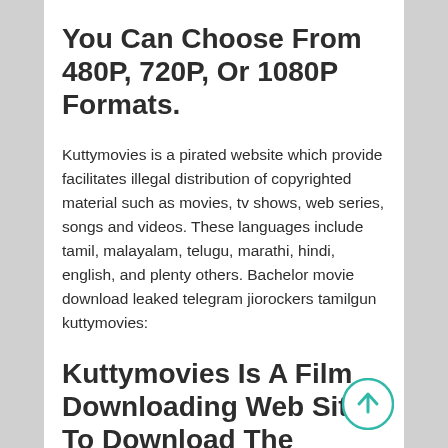You Can Choose From 480P, 720P, Or 1080P Formats.
Kuttymovies is a pirated website which provide facilitates illegal distribution of copyrighted material such as movies, tv shows, web series, songs and videos. These languages include tamil, malayalam, telugu, marathi, hindi, english, and plenty others. Bachelor movie download leaked telegram jiorockers tamilgun kuttymovies:
Kuttymovies Is A Film Downloading Web Site To Download The Newest Tamil, Malayalam, Bollywood, Hollywood, Punjabi, And Different South
[Figure (illustration): Teal circular scroll-to-top button with upward arrow icon in bottom right corner]